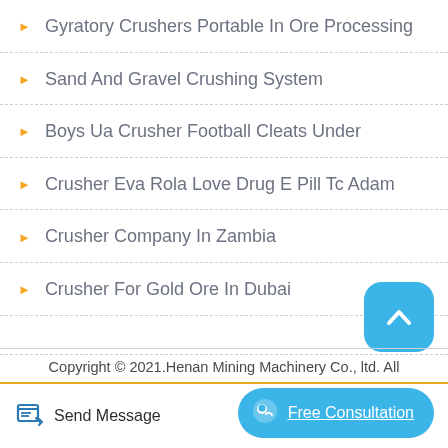Gyratory Crushers Portable In Ore Processing
Sand And Gravel Crushing System
Boys Ua Crusher Football Cleats Under
Crusher Eva Rola Love Drug E Pill Tc Adam
Crusher Company In Zambia
Crusher For Gold Ore In Dubai
Copyright © 2021.Henan Mining Machinery Co., ltd. All
Send Message
Free Consultation